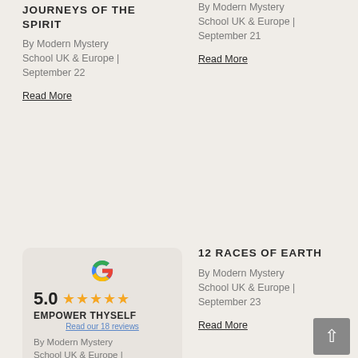JOURNEYS OF THE SPIRIT
By Modern Mystery School UK & Europe | September 22
Read More
By Modern Mystery School UK & Europe | September 21
Read More
[Figure (infographic): Google review widget showing 5.0 rating with 5 gold stars, EMPOWER THYSELF brand label, and 'Read our 18 reviews' link. Google G logo at top.]
By Modern Mystery School UK & Europe |
12 RACES OF EARTH
By Modern Mystery School UK & Europe | September 23
Read More